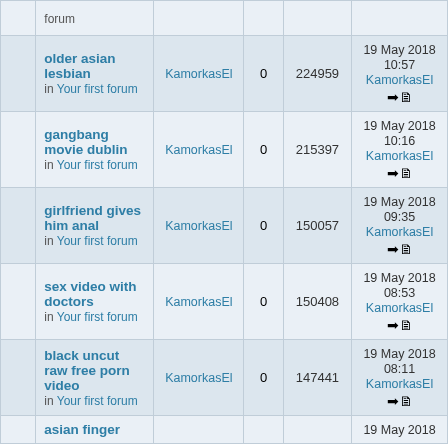|  | Topic | Author | Replies | Views | Last Post |
| --- | --- | --- | --- | --- | --- |
|  | older asian lesbian
in Your first forum | KamorkasEl | 0 | 224959 | 19 May 2018 10:57
KamorkasEl |
|  | gangbang movie dublin
in Your first forum | KamorkasEl | 0 | 215397 | 19 May 2018 10:16
KamorkasEl |
|  | girlfriend gives him anal
in Your first forum | KamorkasEl | 0 | 150057 | 19 May 2018 09:35
KamorkasEl |
|  | sex video with doctors
in Your first forum | KamorkasEl | 0 | 150408 | 19 May 2018 08:53
KamorkasEl |
|  | black uncut raw free porn video
in Your first forum | KamorkasEl | 0 | 147441 | 19 May 2018 08:11
KamorkasEl |
|  | asian finger
... | KamorkasEl | 0 |  | 19 May 2018 |